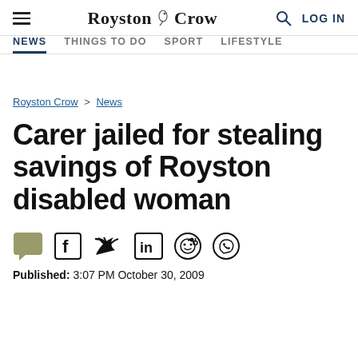Royston Crow — NEWS | THINGS TO DO | SPORT | LIFESTYLE | LOG IN
Royston Crow > News
Carer jailed for stealing savings of Royston disabled woman
Published: 3:07 PM October 30, 2009